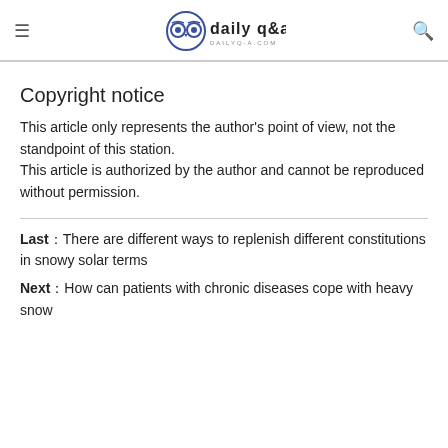daily q&a — dailyq-a.com
Copyright notice
This article only represents the author's point of view, not the standpoint of this station.
This article is authorized by the author and cannot be reproduced without permission.
Last：There are different ways to replenish different constitutions in snowy solar terms
Next：How can patients with chronic diseases cope with heavy snow